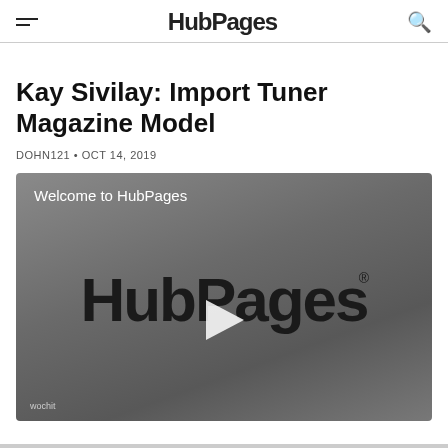HubPages
Kay Sivilay: Import Tuner Magazine Model
DOHN121 • OCT 14, 2019
[Figure (screenshot): Video player showing 'Welcome to HubPages' with the HubPages logo and a play button in the center. 'wochit' watermark in the bottom left corner.]